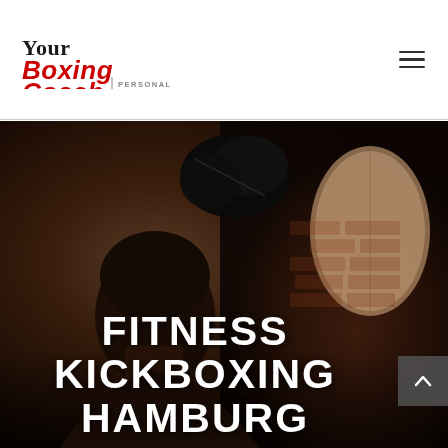[Figure (logo): YourBoxingCoach Personal Training logo — 'Your' in black serif, 'Boxing' in bold red italic, 'Coach' in bold red italic, 'PERSONAL TRAINING' in small grey caps]
[Figure (photo): Close-up photo of a boxer from behind hitting a punching bag, black boxing gloves visible at top, brick wall background, dark moody lighting]
FITNESS KICKBOXING HAMBURG